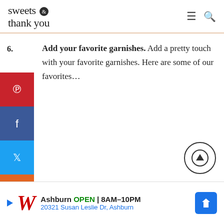sweets & thank you
6. Add your favorite garnishes. Add a pretty touch with your favorite garnishes. Here are some of our favorites…
[Figure (illustration): Social media share sidebar with Pinterest (red), Facebook (blue), Twitter (light blue), and Yummly (orange) buttons]
[Figure (illustration): Scroll to top arrow button, circular with upward arrow]
Ashburn OPEN 8AM–10PM 20321 Susan Leslie Dr, Ashburn